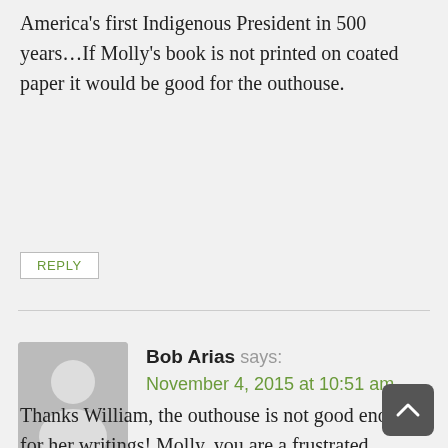America's first Indigenous President in 500 years…If Molly's book is not printed on coated paper it would be good for the outhouse.
REPLY
Bob Arias says: November 4, 2015 at 10:51 am
Thanks William, the outhouse is not good enough for her writings! Molly, you are a frustrated uneducated individual who knows nothing about Latin America or the Peace Corps. In 1971 Bolivia did close their program